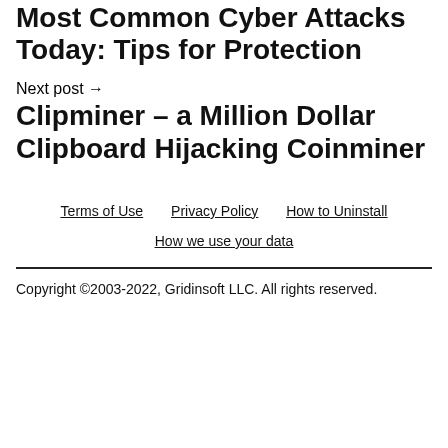Most Common Cyber Attacks Today: Tips for Protection
Next post →
Clipminer – a Million Dollar Clipboard Hijacking Coinminer
Terms of Use   Privacy Policy   How to Uninstall   How we use your data
Copyright ©2003-2022, Gridinsoft LLC. All rights reserved.